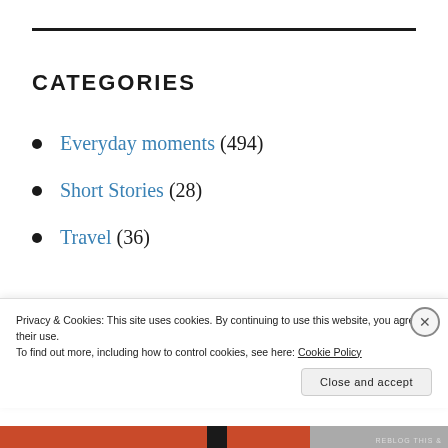CATEGORIES
Everyday moments (494)
Short Stories (28)
Travel (36)
Privacy & Cookies: This site uses cookies. By continuing to use this website, you agree to their use.
To find out more, including how to control cookies, see here: Cookie Policy
Close and accept